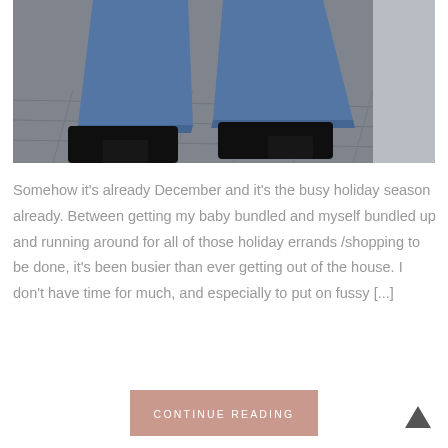[Figure (photo): Close-up of a person's legs wearing blue frayed-hem jeans and black block-heel ankle boots, walking on stone pavement with a light wall on the right]
Somehow it's already December and it's the busy holiday season already. Between getting my baby bundled and myself bundled up and running around for all of those holiday errands /shopping to be done, it's been busier than ever getting out of the house. I don't have time for much, and especially to put on fussy [...]
CONTINUE READING